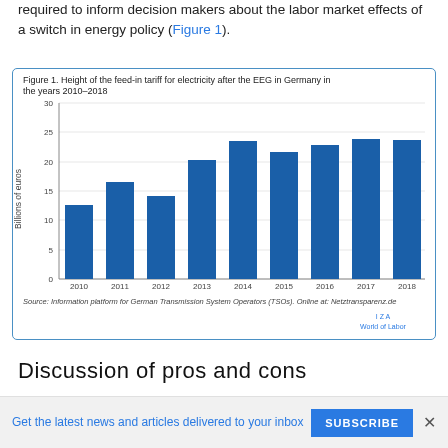required to inform decision makers about the labor market effects of a switch in energy policy (Figure 1).
[Figure (bar-chart): Figure 1. Height of the feed-in tariff for electricity after the EEG in Germany in the years 2010–2018]
Source: Information platform for German Transmission System Operators (TSOs). Online at: Netztransparenz.de
Discussion of pros and cons
Employment effects of green energy policies
Mitigating global climate change is now at the top of the policy
Get the latest news and articles delivered to your inbox